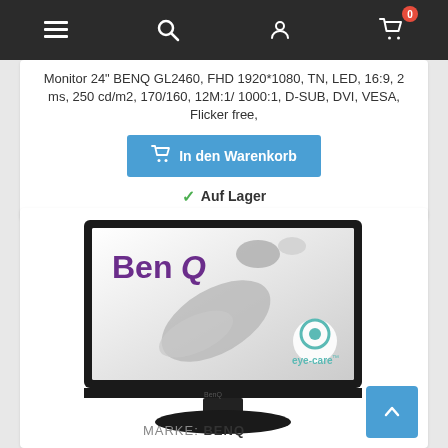Navigation bar with menu, search, account, and cart (0 items) icons
Monitor 24" BENQ GL2460, FHD 1920*1080, TN, LED, 16:9, 2 ms, 250 cd/m2, 170/160, 12M:1/ 1000:1, D-SUB, DVI, VESA, Flicker free,
In den Warenkorb
Auf Lager
[Figure (photo): BenQ GL2460 24-inch monitor with BenQ logo in purple and eye-care logo, displayed on white background with decorative silver shapes]
MARKE: BENQ